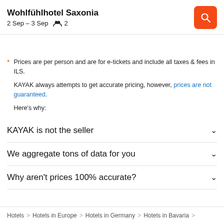Wohlfühlhotel Saxonia
2 Sep – 3 Sep   👥 2
* Prices are per person and are for e-tickets and include all taxes & fees in ILS.

KAYAK always attempts to get accurate pricing, however, prices are not guaranteed.

Here's why:
KAYAK is not the seller
We aggregate tons of data for you
Why aren't prices 100% accurate?
Hotels  >  Hotels in Europe  >  Hotels in Germany  >  Hotels in Bavaria  >